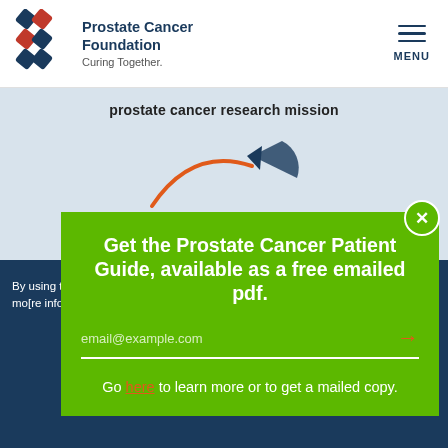[Figure (logo): Prostate Cancer Foundation logo with chain-link symbol]
Prostate Cancer Foundation
Curing Together.
prostate cancer research mission
[Figure (illustration): Orange arc arrow pointing to a blue wedge/pie slice graphic element]
Get the Prostate Cancer Patient Guide, available as a free emailed pdf.
email@example.com
Go here to learn more or to get a mailed copy.
By using this [website...] mo[re information]